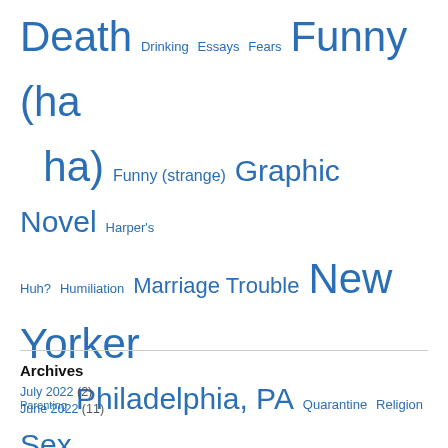Death Drinking Essays Fears Funny (ha ha) Funny (strange) Graphic Novel Harper's Huh? Humiliation Marriage Trouble New Yorker Parenting Philadelphia, PA Quarantine Religion Sex Short Books Short Story Supernatural Threats Tiny Desk Concert Violence Yuck!
Archives
July 2022 (2)
June 2022 (11)